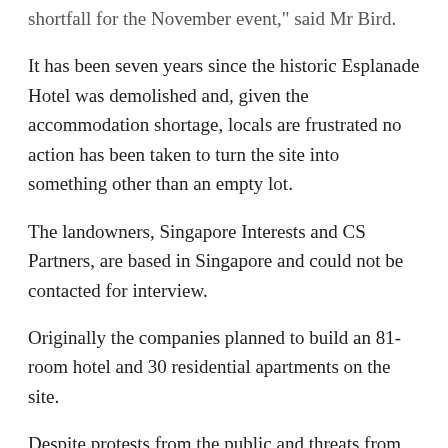shortfall for the November event, said Mr Bird.
It has been seven years since the historic Esplanade Hotel was demolished and, given the accommodation shortage, locals are frustrated no action has been taken to turn the site into something other than an empty lot.
The landowners, Singapore Interests and CS Partners, are based in Singapore and could not be contacted for interview.
Originally the companies planned to build an 81-room hotel and 30 residential apartments on the site.
Despite protests from the public and threats from the State Government to buy back the land, the landowners have not taken any action to rebuild.
The State Government is now threatening compulsory acquisition of the site.